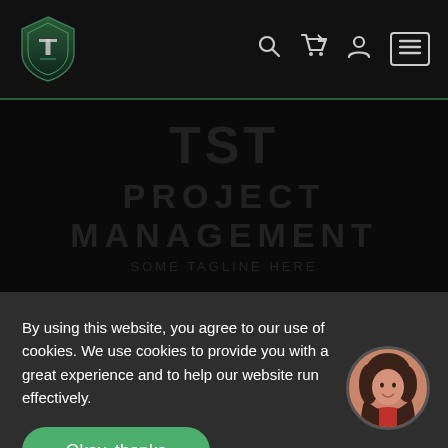[Figure (screenshot): Website navigation bar with shield logo on left, and search, cart, user, and hamburger menu icons on the right, on a dark background]
[Figure (screenshot): Dark hero section with faint large watermark text reading project management]
By using this website, you agree to our use of cookies. We use cookies to provide you with a great experience and to help our website run effectively.
Okay, thanks
[Figure (photo): Circular avatar photo of a woman with dark hair wearing a red top]